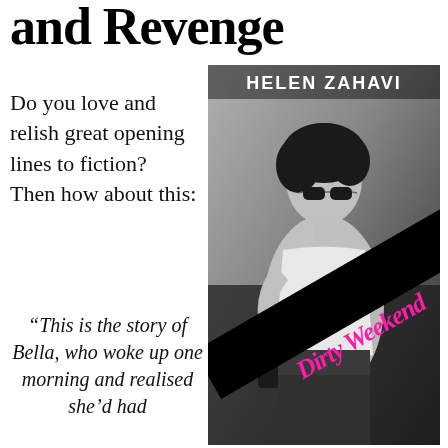and Revenge
Do you love and relish great opening lines to fiction?  Then how about this:
“This is the story of Bella, who woke up one morning and realised she’d had
[Figure (illustration): Book cover of 'Dirty Weekend' by Helen Zahavi. Black and white photo of a woman with dark curly hair and sunglasses, wearing a white top. A black diagonal banner with pink handwritten text reads 'Dirty Weekend'. Author name 'HELEN ZAHAVI' in white text at top.]